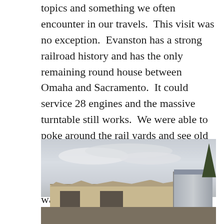topics and something we often encounter in our travels.  This visit was no exception.  Evanston has a strong railroad history and has the only remaining round house between Omaha and Sacramento.  It could service 28 engines and the massive turntable still works.  We were able to poke around the rail yards and see old railroad cars and the renovation of the round house in progress.  In the picture below I am standing in a box car that was repurposed as a picnic venue!
[Figure (photo): Photograph of a dilapidated building with tan/beige walls, large open doorways/windows, and a damaged roof. A metal structure is visible on the right side. Cloudy sky in the background with trees on the far right.]